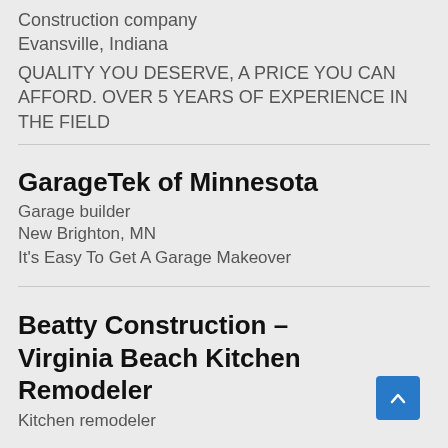Construction company
Evansville, Indiana
QUALITY YOU DESERVE, A PRICE YOU CAN AFFORD. OVER 5 YEARS OF EXPERIENCE IN THE FIELD
GarageTek of Minnesota
Garage builder
New Brighton, MN
It's Easy To Get A Garage Makeover
Beatty Construction – Virginia Beach Kitchen Remodeler
Kitchen remodeler